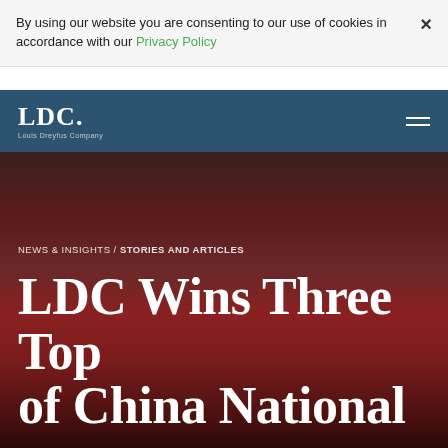By using our website you are consenting to our use of cookies in accordance with our Privacy Policy
LDC. Louis Dreyfus Company
[Figure (photo): Group of people wearing red scarves and holding gold award plaques at a formal ceremony event]
NEWS & INSIGHTS / STORIES AND ARTICLES
LDC Wins Three Top of China National